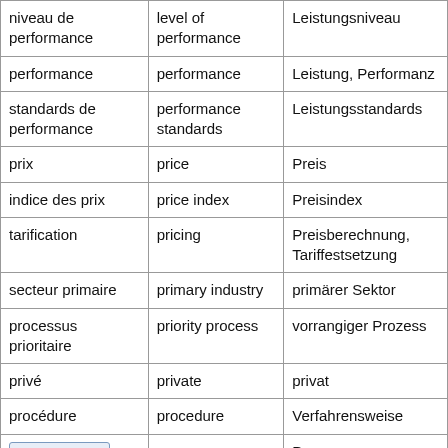| French | English | German |
| --- | --- | --- |
| niveau de performance | level of performance | Leistungsniveau |
| performance | performance | Leistung, Performanz |
| standards de performance | performance standards | Leistungsstandards |
| prix | price | Preis |
| indice des prix | price index | Preisindex |
| tarification | pricing | Preisberechnung, Tariffestsetzung |
| secteur primaire | primary industry | primärer Sektor |
| processus prioritaire | priority process | vorrangiger Prozess |
| privé | private | privat |
| procédure | procedure | Verfahrensweise |
| [Back to the top] | process | Prozess |
|  |  |  |